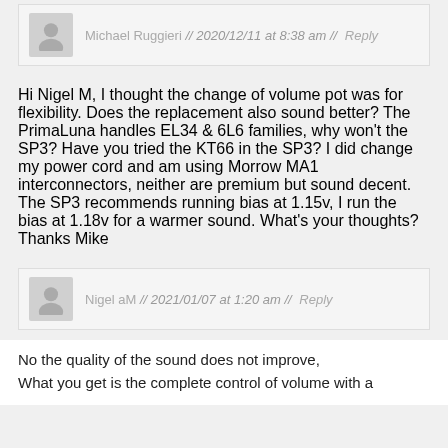Michael Ruggieri // 2020/12/11 at 8:38 am // Reply
Hi Nigel M, I thought the change of volume pot was for flexibility. Does the replacement also sound better? The PrimaLuna handles EL34 & 6L6 families, why won't the SP3? Have you tried the KT66 in the SP3? I did change my power cord and am using Morrow MA1 interconnectors, neither are premium but sound decent. The SP3 recommends running bias at 1.15v, I run the bias at 1.18v for a warmer sound. What's your thoughts? Thanks Mike
Nigel aM // 2021/01/07 at 1:20 am // Reply
No the quality of the sound does not improve, What you get is the complete control of volume with a